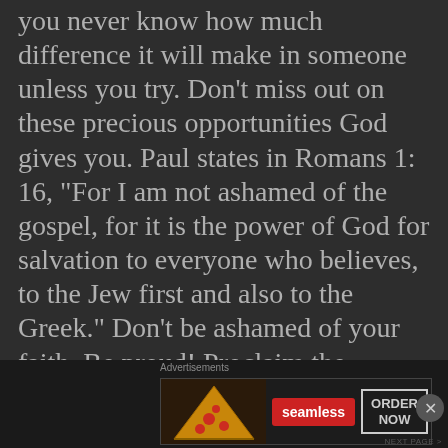they both most almost, however, you never know how much difference it will make in someone unless you try. Don't miss out on these precious opportunities God gives you. Paul states in Romans 1: 16, “For I am not ashamed of the gospel, for it is the power of God for salvation to everyone who believes, to the Jew first and also to the Greek.” Don’t be ashamed of your faith. Be proud! Proclaim the salvation that saves!
Advertisements [seamless ORDER NOW ad banner]